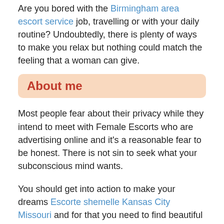Are you bored with the Birmingham area escort service job, travelling or with your daily routine? Undoubtedly, there is plenty of ways to make you relax but nothing could match the feeling that a woman can give.
About me
Most people fear about their privacy while they intend to meet with Female Escorts who are advertising online and it's a reasonable fear to be honest. There is not sin to seek what your subconscious mind wants.
You should get into action to make your dreams Escorte shemelle Kansas City Missouri and for that you need to find beautiful Female Escorts or Adult service provider in your local neighborhood. These unreliable sex workers and prostitutes are mostly illiterate who are working on the streets of Fort Collins-North CO area under a handler or most probably a victim of sex trafficking where you shouldn't be involved at all.
It's not about only sex, and physical satisfaction.